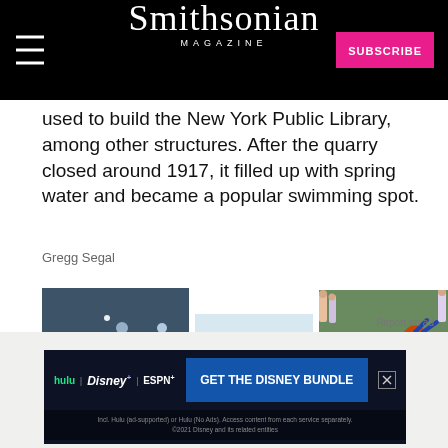Smithsonian MAGAZINE
used to build the New York Public Library, among other structures. After the quarry closed around 1917, it filled up with spring water and became a popular swimming spot.
Gregg Segal
[Figure (photo): Three photos of people jumping/diving at a quarry swimming spot. Left: aerial view of swimmer in sparkling water. Center: person mid-jump against sky and trees. Right: person doing backflip off a stone quarry wall.]
Report an ad
[Figure (screenshot): Advertisement for Disney Bundle: Hulu, Disney+, ESPN+. GET THE DISNEY BUNDLE. Incl. Hulu (ad-supported) or Hulu (No Ads). Access content from each service separately. ©2021 Disney and its related entities]